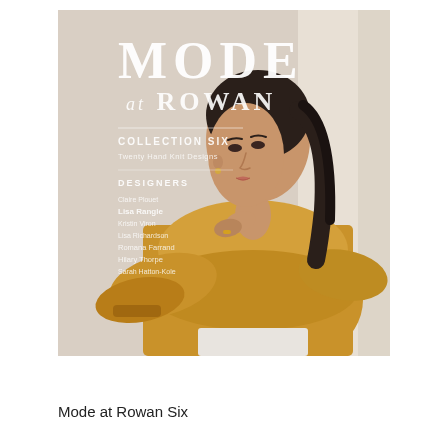[Figure (illustration): Cover of 'Mode at Rowan Six' knitting pattern book. A woman with dark hair pulled back wears a loose mustard/golden yellow oversized knit sweater. She stands against a light stone wall. Overlaid text reads 'MODE at ROWAN', 'COLLECTION SIX', 'Twenty Hand Knit Designs', 'DESIGNERS' followed by a list of designer names.]
Mode at Rowan Six